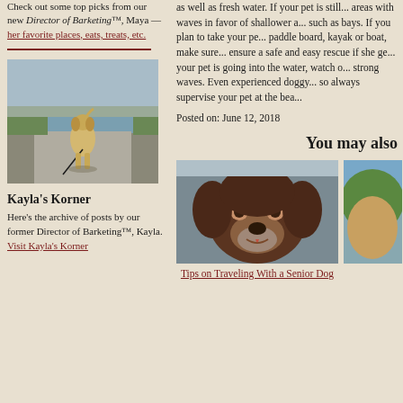Check out some top picks from our new Director of Barketing™, Maya — her favorite places, eats, treats, etc.
[Figure (photo): Dog walking on a path near water, viewed from behind, on a leash]
Kayla's Korner
Here's the archive of posts by our former Director of Barketing™, Kayla. Visit Kayla's Korner
as well as fresh water. If your pet is still... areas with waves in favor of shallower a... such as bays. If you plan to take your pe... paddle board, kayak or boat, make sure... ensure a safe and easy rescue if she ge... your pet is going into the water, watch o... strong waves. Even experienced doggy... so always supervise your pet at the bea...
Posted on: June 12, 2018
You may also
[Figure (photo): Close-up of a senior chocolate Labrador dog looking at the camera]
Tips on Traveling With a Senior Dog
[Figure (photo): Partial image of another dog or scene, cropped on right edge]